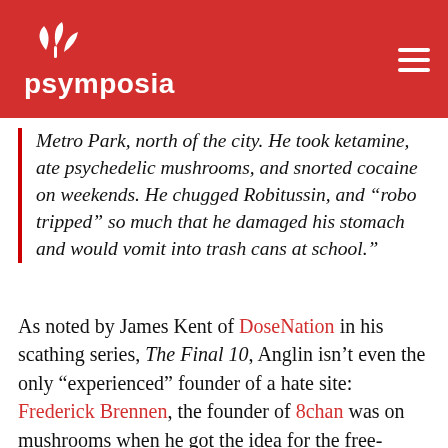psymposia
Metro Park, north of the city. He took ketamine, ate psychedelic mushrooms, and snorted cocaine on weekends. He chugged Robitussin, and “robo tripped” so much that he damaged his stomach and would vomit into trash cans at school.”
As noted by James Kent of DoseNation in his scathing series, The Final 10, Anglin isn’t even the only “experienced” founder of a hate site: Frederick Brennen, the founder of 8chan was on mushrooms when he got the idea for the free-speech absolutist forum that became a